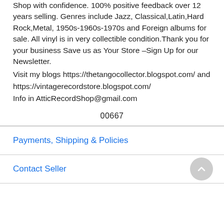Shop with confidence. 100% positive feedback over 12 years selling. Genres include Jazz, Classical,Latin,Hard Rock,Metal, 1950s-1960s-1970s and Foreign albums for sale. All vinyl is in very collectible condition.Thank you for your business Save us as Your Store –Sign Up for our Newsletter.
Visit my blogs https://thetangocollector.blogspot.com/ and https://vintagerecordstore.blogspot.com/
Info in AtticRecordShop@gmail.com
00667
Payments, Shipping & Policies
Contact Seller